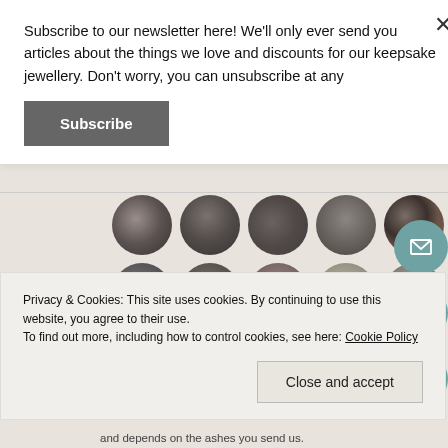Subscribe to our newsletter here! We'll only ever send you articles about the things we love and discounts for our keepsake jewellery. Don't worry, you can unsubscribe at any
Subscribe
[Figure (photo): Grid of 18 circular stone/ash sample images arranged in 3 rows of 6 circles each, on a brownish-grey background]
Privacy & Cookies: This site uses cookies. By continuing to use this website, you agree to their use.
To find out more, including how to control cookies, see here: Cookie Policy
Close and accept
and depends on the ashes you send us.